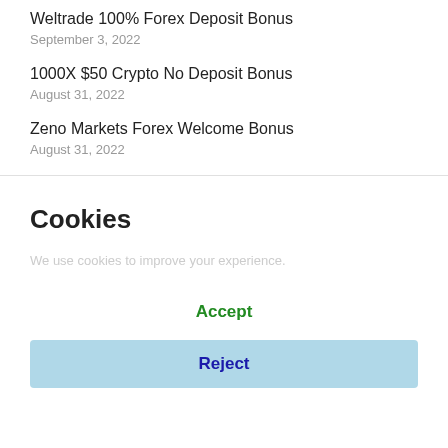Weltrade 100% Forex Deposit Bonus
September 3, 2022
1000X $50 Crypto No Deposit Bonus
August 31, 2022
Zeno Markets Forex Welcome Bonus
August 31, 2022
Cookies
Accept
Reject